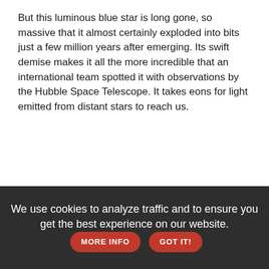But this luminous blue star is long gone, so massive that it almost certainly exploded into bits just a few million years after emerging. Its swift demise makes it all the more incredible that an international team spotted it with observations by the Hubble Space Telescope. It takes eons for light emitted from distant stars to reach us.
We use cookies to analyze traffic and to ensure you get the best experience on our website. MORE INFO GOT IT!